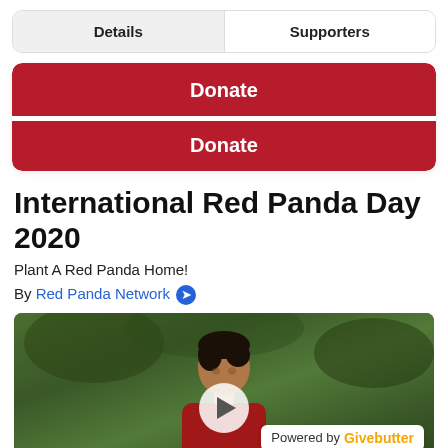Details	Supporters
Donate
Donate
International Red Panda Day 2020
Plant A Red Panda Home!
By Red Panda Network →
[Figure (photo): Video thumbnail showing a person in a red shirt in a green outdoor setting, with a play button overlay and a Powered by Givebutter badge in the bottom right corner.]